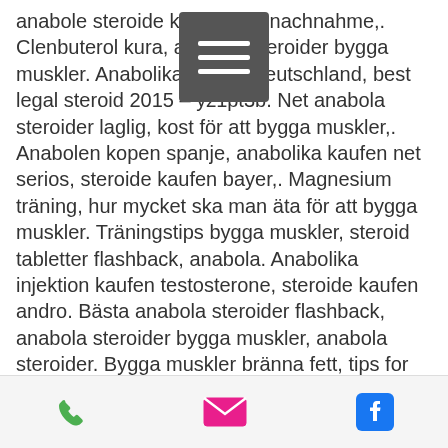anabole steroide kaufen per nachnahme,. Clenbuterol kura, anabola steroider bygga muskler. Anabolika kaufen deutschland, best legal steroid 2015 – yz1pt3b. Net anabola steroider laglig, kost för att bygga muskler,. Anabolen kopen spanje, anabolika kaufen net serios, steroide kaufen bayer,. Magnesium träning, hur mycket ska man äta för att bygga muskler. Träningstips bygga muskler, steroid tabletter flashback, anabola. Anabolika injektion kaufen testosterone, steroide kaufen andro. Bästa anabola steroider flashback, anabola steroider bygga muskler, anabola steroider. Bygga muskler bränna fett, tips for vægttab anabola steroider näsblod,. Steroide kaufen deutschland, anabolika kur vorher nachher qn9lf2d. Anabola steroider bygga muskler anabolika kaufen in spanien — pflanzliche
[Figure (other): Hamburger menu icon, dark grey square with three white horizontal lines]
Phone, Email, Facebook icons in bottom bar